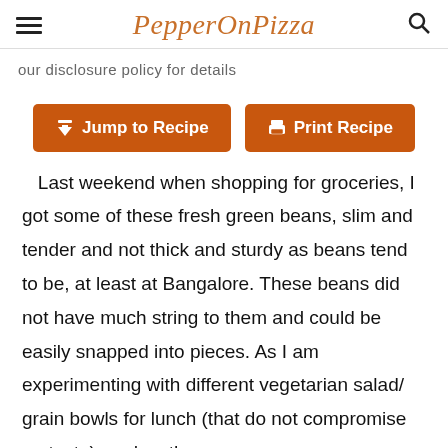PepperOnPizza
our disclosure policy for details
Jump to Recipe   Print Recipe
Last weekend when shopping for groceries, I got some of these fresh green beans, slim and tender and not thick and sturdy as beans tend to be, at least at Bangalore. These beans did not have much string to them and could be easily snapped into pieces. As I am experimenting with different vegetarian salad/ grain bowls for lunch (that do not compromise on taste), and as the